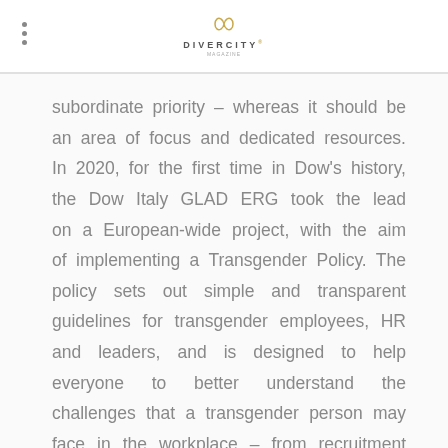DIVERCITY
subordinate priority – whereas it should be an area of focus and dedicated resources. In 2020, for the first time in Dow's history, the Dow Italy GLAD ERG took the lead on a European-wide project, with the aim of implementing a Transgender Policy. The policy sets out simple and transparent guidelines for transgender employees, HR and leaders, and is designed to help everyone to better understand the challenges that a transgender person may face in the workplace – from recruitment to